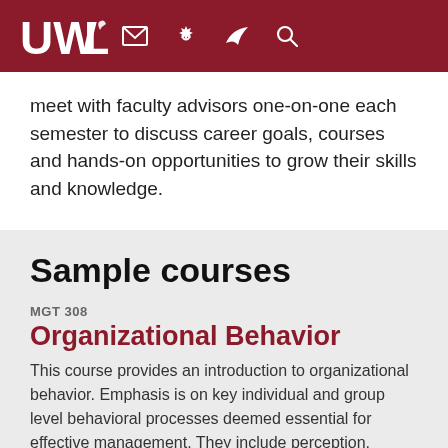UWL [university header with navigation icons]
meet with faculty advisors one-on-one each semester to discuss career goals, courses and hands-on opportunities to grow their skills and knowledge.
Sample courses
MGT 308
Organizational Behavior
This course provides an introduction to organizational behavior. Emphasis is on key individual and group level behavioral processes deemed essential for effective management. They include perception, motiva